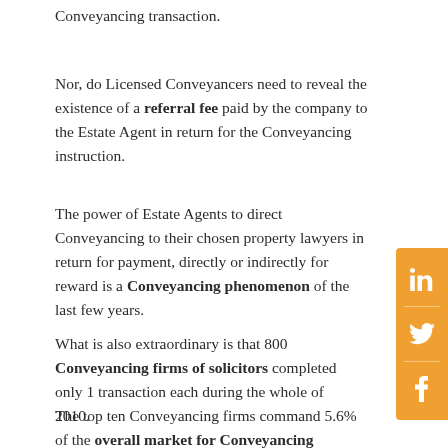Conveyancing transaction.
Nor, do Licensed Conveyancers need to reveal the existence of a referral fee paid by the company to the Estate Agent in return for the Conveyancing instruction.
The power of Estate Agents to direct Conveyancing to their chosen property lawyers in return for payment, directly or indirectly for reward is a Conveyancing phenomenon of the last few years.
[Figure (infographic): Orange social sharing bar with LinkedIn, Twitter, and Facebook icons]
What is also extraordinary is that 800 Conveyancing firms of solicitors completed only 1 transaction each during the whole of 2010.
The top ten Conveyancing firms command 5.6% of the overall market for Conveyancing